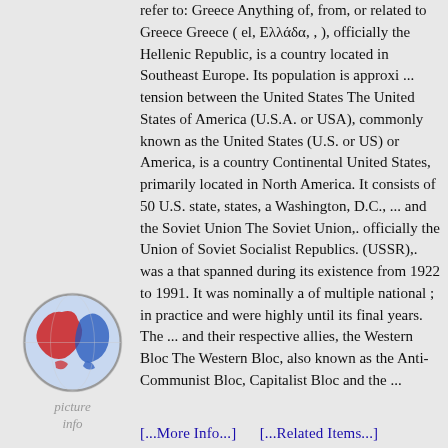refer to: Greece Anything of, from, or related to Greece Greece ( el, Ελλάδα, , ), officially the Hellenic Republic, is a country located in Southeast Europe. Its population is approxi ... tension between the United States The United States of America (U.S.A. or USA), commonly known as the United States (U.S. or US) or America, is a country Continental United States, primarily located in North America. It consists of 50 U.S. state, states, a Washington, D.C., ... and the Soviet Union The Soviet Union,. officially the Union of Soviet Socialist Republics. (USSR),. was a that spanned during its existence from 1922 to 1991. It was nominally a of multiple national ; in practice and were highly until its final years. The ... and their respective allies, the Western Bloc The Western Bloc, also known as the Anti-Communist Bloc, Capitalist Bloc and the ...
[Figure (illustration): Globe icon showing world map with red and blue coloring, labeled 'picture info']
[...More Info...]        [...Related Items...]